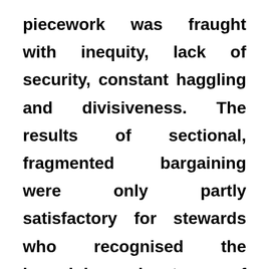piecework was fraught with inequity, lack of security, constant haggling and divisiveness. The results of sectional, fragmented bargaining were only partly satisfactory for stewards who recognised the bargaining advantages of piecework but were also critical of